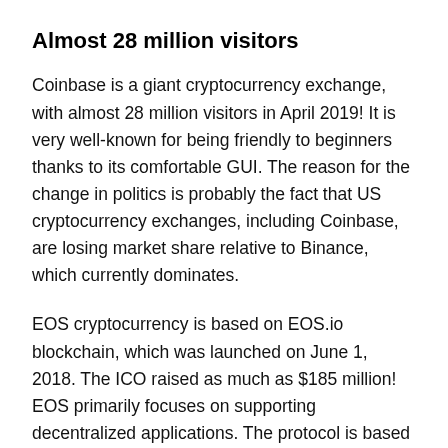Almost 28 million visitors
Coinbase is a giant cryptocurrency exchange, with almost 28 million visitors in April 2019! It is very well-known for being friendly to beginners thanks to its comfortable GUI. The reason for the change in politics is probably the fact that US cryptocurrency exchanges, including Coinbase, are losing market share relative to Binance, which currently dominates.
EOS cryptocurrency is based on EOS.io blockchain, which was launched on June 1, 2018. The ICO raised as much as $185 million! EOS primarily focuses on supporting decentralized applications. The protocol is based on Proof-of-Stake consensus mechanism. The code was written in C++.